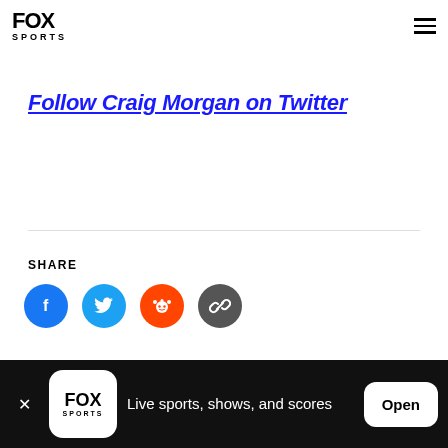FOX SPORTS
Follow Craig Morgan on Twitter
SHARE
[Figure (other): Social share buttons: Facebook (blue circle with f), Twitter (light blue circle with bird), Reddit (orange circle with alien logo), Copy link (dark grey circle with chain link icon)]
Live sports, shows, and scores
Open